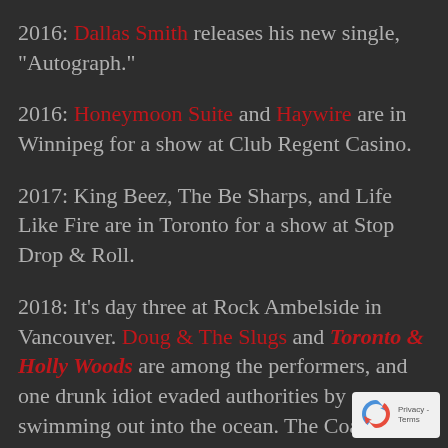2016: Dallas Smith releases his new single, "Autograph."
2016: Honeymoon Suite and Haywire are in Winnipeg for a show at Club Regent Casino.
2017: King Beez, The Be Sharps, and Life Like Fire are in Toronto for a show at Stop Drop & Roll.
2018: It's day three at Rock Ambelside in Vancouver. Doug & The Slugs and Toronto & Holly Woods are among the performers, and one drunk idiot evaded authorities by swimming out into the ocean. The Coast Guard was